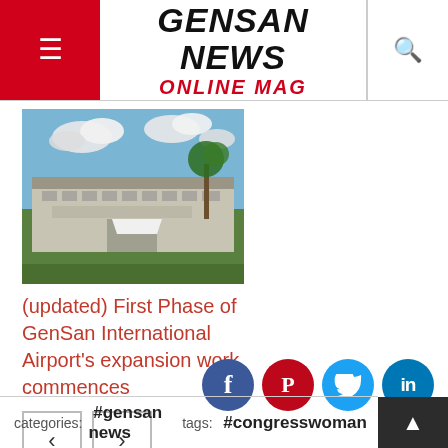GENSAN NEWS ONLINE MAG
[Figure (photo): Exterior photo of General Santos City Airport building with palm trees and blue sky with clouds]
(updated) First Phase of GenSan International Airport's expansion work commences
categories: #gensan news   tags: #congresswoman